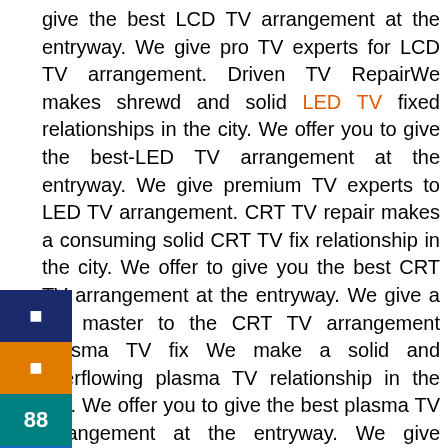give the best LCD TV arrangement at the entryway. We give pro TV experts for LCD TV arrangement. Driven TV RepairWe makes shrewd and solid LED TV fixed relationships in the city. We offer you to give the best-LED TV arrangement at the entryway. We give premium TV experts to LED TV arrangement. CRT TV repair makes a consuming solid CRT TV fix relationship in the city. We offer to give you the best CRT TV arrangement at the entryway. We give a TV master to the CRT TV arrangement Plasma TV fix We make a solid and overflowing plasma TV relationship in the city. We offer you to give the best plasma TV arrangement at the entryway. We give specialists the plasma TV arrangement. Super thin TV arrangement makes a vivacious and solid super-thin TV fix relationship in the city. We offer to give you the best Ultra Slim arrangement at the entryway. We give TV specialists the Ultra Slim TV arrangement. The following are Sony TV client service numbers to help clients.
Clients can contact Sony TV client support numbers concerning any solicitations/gifts they may have with the TV things sold by the association or on the off chance that they